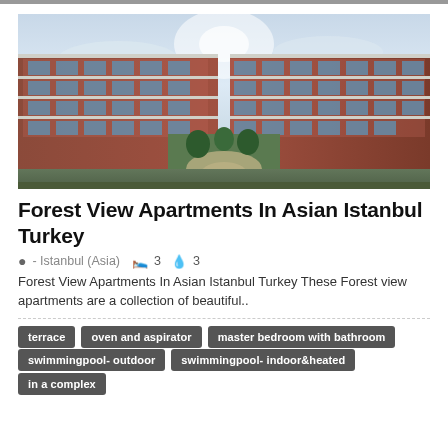[Figure (photo): Exterior view of a modern multi-story apartment complex with brick and glass facade, curved courtyard with landscaped gardens, taken from ground level looking up]
Forest View Apartments In Asian Istanbul Turkey
- Istanbul (Asia)  3  3
Forest View Apartments In Asian Istanbul Turkey These Forest view apartments are a collection of beautiful..
terrace
oven and aspirator
master bedroom with bathroom
swimmingpool- outdoor
swimmingpool- indoor&heated
in a complex